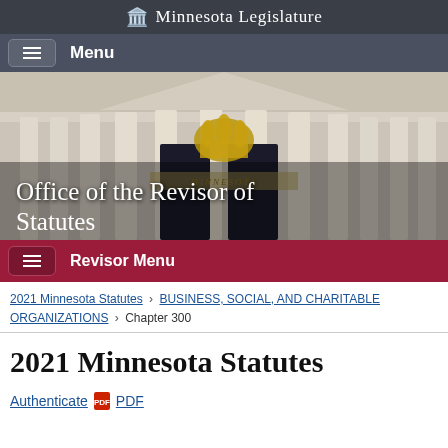Minnesota Legislature
Menu
[Figure (photo): Photograph of the Minnesota State Capitol building exterior with columns and golden sculpture, with overlay text 'Office of the Revisor of Statutes']
Revisor Menu
2021 Minnesota Statutes > BUSINESS, SOCIAL, AND CHARITABLE ORGANIZATIONS > Chapter 300
2021 Minnesota Statutes
Authenticate PDF